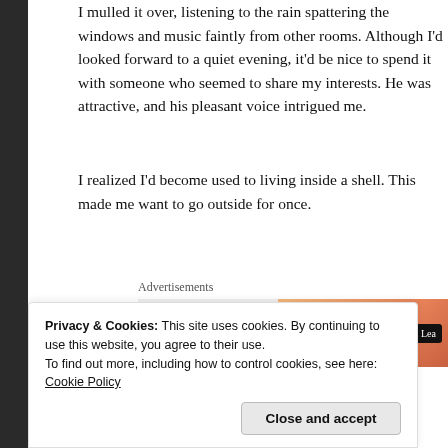I mulled it over, listening to the rain spattering the windows and music faintly from other rooms. Although I'd looked forward to a quiet evening, it'd be nice to spend it with someone who seemed to share my interests. He was attractive, and his pleasant voice intrigued me.
I realized I'd become used to living inside a shell. This made me want to go outside for once.
Advertisements
[Figure (screenshot): WordPress VIP advertisement banner with logo on left and orange gradient on right with 'Lea...' button]
“I’d like that.” I smiled at his pleased expression. “I’m Soph... my hand in introduction.
Privacy & Cookies: This site uses cookies. By continuing to use this website, you agree to their use.
To find out more, including how to control cookies, see here: Cookie Policy

Close and accept